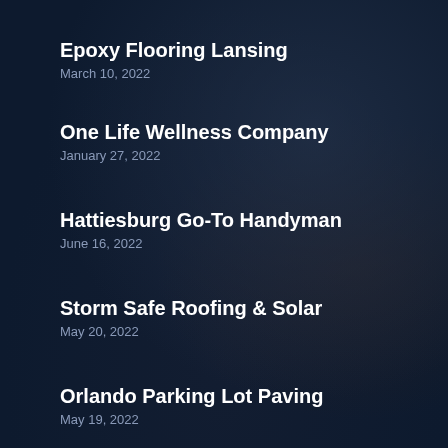Epoxy Flooring Lansing
March 10, 2022
One Life Wellness Company
January 27, 2022
Hattiesburg Go-To Handyman
June 16, 2022
Storm Safe Roofing & Solar
May 20, 2022
Orlando Parking Lot Paving
May 19, 2022